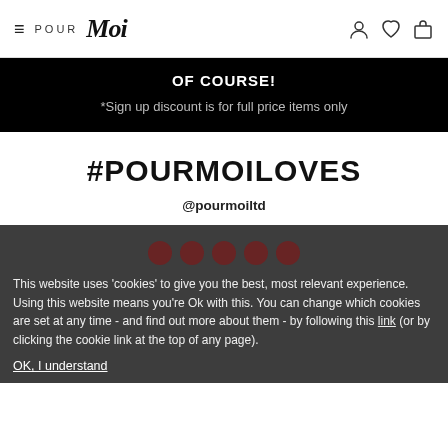≡  POUR Moi  (icons: user, heart, bag)
OF COURSE!
*Sign up discount is for full price items only
#POURMOILOVES
@pourmoiltd
This website uses 'cookies' to give you the best, most relevant experience. Using this website means you're Ok with this. You can change which cookies are set at any time - and find out more about them - by following this link (or by clicking the cookie link at the top of any page).
OK, I understand